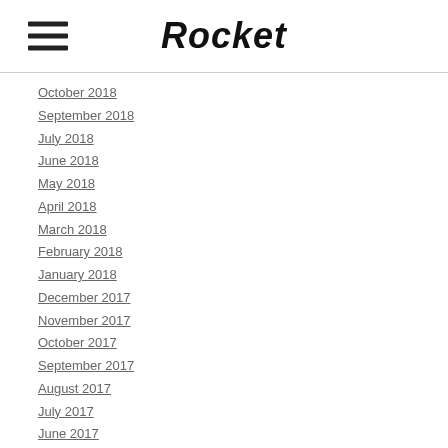Rocket
October 2018
September 2018
July 2018
June 2018
May 2018
April 2018
March 2018
February 2018
January 2018
December 2017
November 2017
October 2017
September 2017
August 2017
July 2017
June 2017
April 2017
March 2017